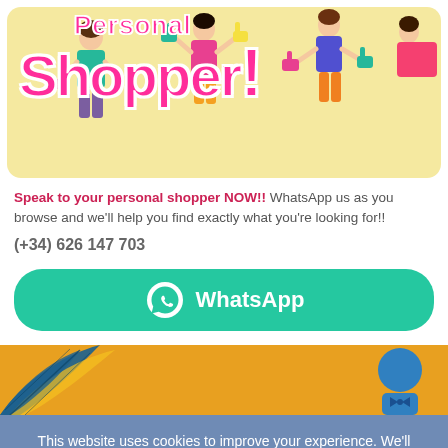[Figure (illustration): Personal Shopper promotional card with illustrated shoppers carrying bags, yellow background, pink decorative text saying 'Personal Shopper!']
Speak to your personal shopper NOW!! WhatsApp us as you browse and we'll help you find exactly what you're looking for!! (+34) 626 147 703
[Figure (other): Teal/green WhatsApp button with WhatsApp logo icon and text 'WhatsApp']
[Figure (illustration): Banner with orange/yellow background, tropical leaves, partial blue bow-tie figure visible]
This website uses cookies to improve your experience. We'll assume you're ok with this, but you can opt-out if you wish.
Accept   Read More